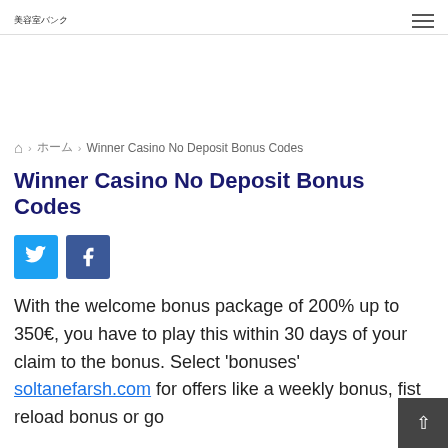美容室バンク
ホーム > Winner Casino No Deposit Bonus Codes
Winner Casino No Deposit Bonus Codes
[Figure (other): Twitter and Facebook social share buttons]
With the welcome bonus package of 200% up to 350€, you have to play this within 30 days of your claim to the bonus. Select 'bonuses' soltanefarsh.com for offers like a weekly bonus, fist reload bonus or go